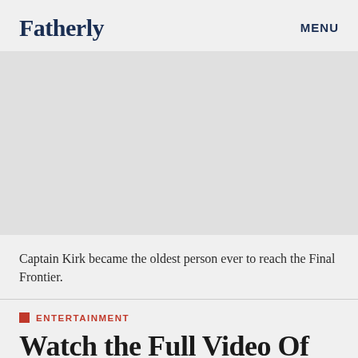Fatherly   MENU
[Figure (photo): Gray placeholder image area for an article photo related to Captain Kirk in space]
Captain Kirk became the oldest person ever to reach the Final Frontier.
ENTERTAINMENT
Watch the Full Video Of